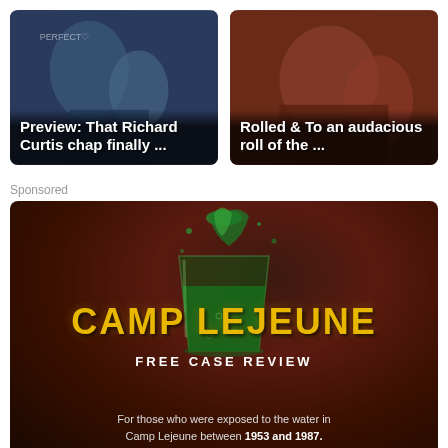[Figure (illustration): Two article preview cards side by side. Left card shows animated/illustrated characters with text 'Preview: That Richard Curtis chap finally ...' overlaid on dark background. Right card shows illustrated characters with text 'Rolled & To an audacious roll of the ..' overlaid on dark background.]
Sponsored
[Figure (photo): Sponsored advertisement for Camp Lejeune Free Case Review. Dark red/brown background with a green liquid splashing into a glass at the top. Large yellow distressed text reads 'CAMP LEJEUNE'. Below that in white uppercase letters: 'FREE CASE REVIEW'. At the bottom: 'For those who were exposed to the water in Camp Lejeune between 1953 and 1987.']